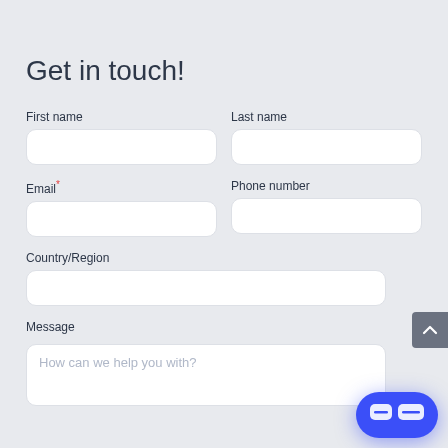Get in touch!
First name
Last name
Email*
Phone number
Country/Region
Message
How can we help you with?
[Figure (screenshot): Scroll-to-top arrow button (chevron up) on the right side of the page, grey background]
[Figure (logo): Blue rounded rectangle chat widget with two small white speech bubble icons at the bottom right corner]